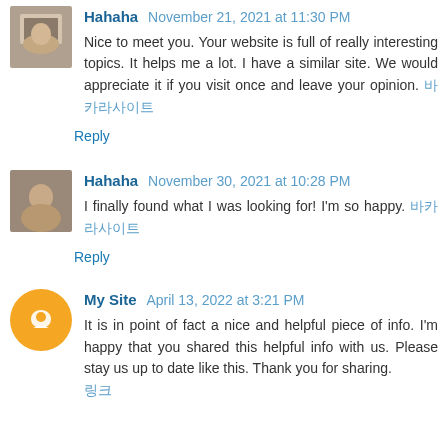Hahaha November 21, 2021 at 11:30 PM — Nice to meet you. Your website is full of really interesting topics. It helps me a lot. I have a similar site. We would appreciate it if you visit once and leave your opinion. [링크]
Reply
Hahaha November 30, 2021 at 10:28 PM — I finally found what I was looking for! I'm so happy. [링크]
Reply
My Site April 13, 2022 at 3:21 PM — It is in point of fact a nice and helpful piece of info. I'm happy that you shared this helpful info with us. Please stay us up to date like this. Thank you for sharing. [링크]